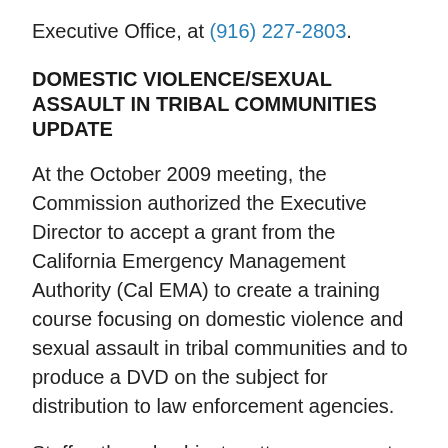Executive Office, at (916) 227-2803.
DOMESTIC VIOLENCE/SEXUAL ASSAULT IN TRIBAL COMMUNITIES UPDATE
At the October 2009 meeting, the Commission authorized the Executive Director to accept a grant from the California Emergency Management Authority (Cal EMA) to create a training course focusing on domestic violence and sexual assault in tribal communities and to produce a DVD on the subject for distribution to law enforcement agencies.
Staff gathered subject matter resources to create the course and develop the content for the DVD. The DVD is expected to be delivered to agencies in